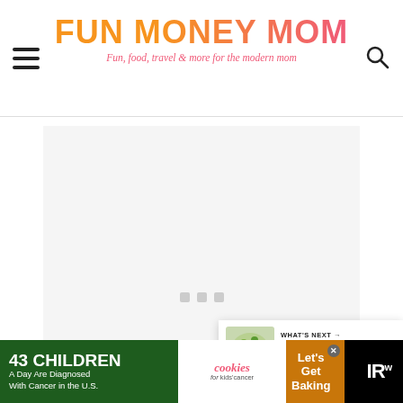FUN MONEY MOM — Fun food, travel & more for the modern mom
[Figure (photo): Main content image area, loading/placeholder state with three small grey dots visible]
[Figure (infographic): What's Next panel: Easy Egg Carton... with thumbnail]
[Figure (infographic): Advertisement bar: 43 Children A Day Are Diagnosed With Cancer in the U.S. / cookies for kids cancer / Let's Get Baking]